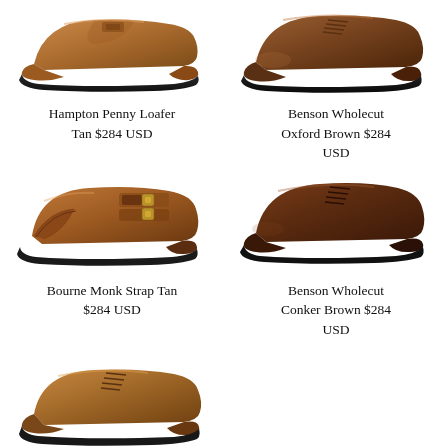[Figure (photo): Hampton Penny Loafer in tan leather, side profile view]
[Figure (photo): Benson Wholecut Oxford in brown leather, side profile view]
Hampton Penny Loafer Tan $284 USD
Benson Wholecut Oxford Brown $284 USD
[Figure (photo): Bourne Monk Strap in tan leather with double buckle, side profile view]
[Figure (photo): Benson Wholecut in Conker Brown leather, side profile view]
Bourne Monk Strap Tan $284 USD
Benson Wholecut Conker Brown $284 USD
[Figure (photo): Brown leather Oxford shoe, side profile view, bottom of page]